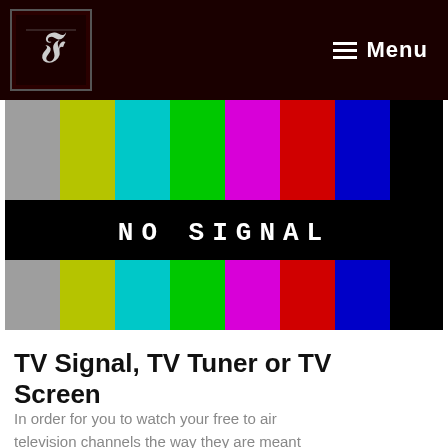Menu
[Figure (illustration): TV color bars test pattern with 'NO SIGNAL' text in the middle. Color bars include gray, yellow-green, cyan, green, magenta, red, blue, and black vertical stripes. A black horizontal band across the center shows 'NO SIGNAL' in pixel-style white text.]
TV Signal, TV Tuner or TV Screen
In order for you to watch your free to air television channels the way they are meant to be watched, you need the following: